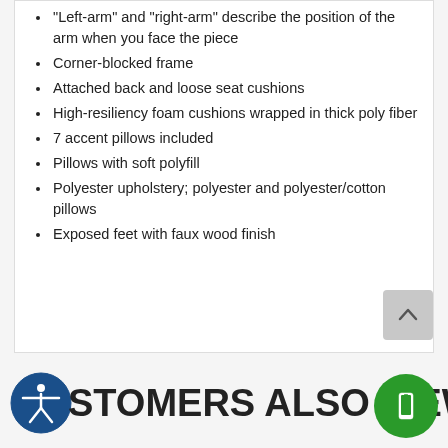"Left-arm" and "right-arm" describe the position of the arm when you face the piece
Corner-blocked frame
Attached back and loose seat cushions
High-resiliency foam cushions wrapped in thick poly fiber
7 accent pillows included
Pillows with soft polyfill
Polyester upholstery; polyester and polyester/cotton pillows
Exposed feet with faux wood finish
[Figure (illustration): Scroll-to-top button (grey rounded rectangle with upward chevron arrow)]
[Figure (illustration): Accessibility icon (blue circle with white figure) and mobile button (green circle with phone icon)]
CUSTOMERS ALSO VIEWED